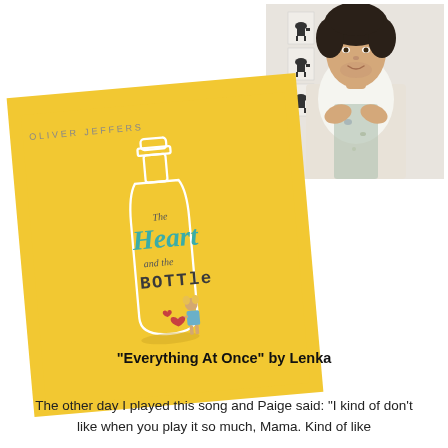[Figure (photo): Photo of a young man with curly dark hair, wearing a white t-shirt and a paint-stained apron, arms crossed, smiling. Background shows a white wall with small framed animal silhouette prints.]
[Figure (illustration): Book cover for 'The Heart and the Bottle' by Oliver Jeffers. Yellow background with a white outline drawing of a tall bottle. Inside/beside the bottle is a small illustrated girl with blonde pigtails. Text on cover reads 'OLIVER JEFFERS' at top and 'The Heart and the BOTTle' in the center. A small red heart is near the bottom of the bottle.]
"Everything At Once" by Lenka
The other day I played this song and Paige said: "I kind of don't like when you play it so much, Mama. Kind of like